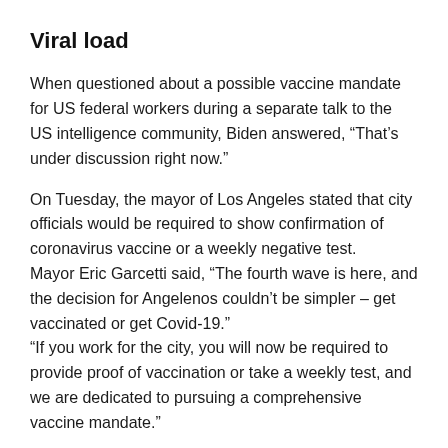Viral load
When questioned about a possible vaccine mandate for US federal workers during a separate talk to the US intelligence community, Biden answered, “That’s under discussion right now.”
On Tuesday, the mayor of Los Angeles stated that city officials would be required to show confirmation of coronavirus vaccine or a weekly negative test.
Mayor Eric Garcetti said, “The fourth wave is here, and the decision for Angelenos couldn’t be simpler – get vaccinated or get Covid-19.”
“If you work for the city, you will now be required to provide proof of vaccination or take a weekly test, and we are dedicated to pursuing a comprehensive vaccine mandate.”